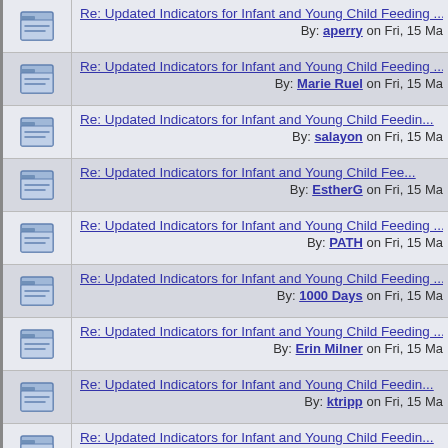Re: Updated Indicators for Infant and Young Child Feeding ... By: aperry on Fri, 15 Ma
Re: Updated Indicators for Infant and Young Child Feeding ... By: Marie Ruel on Fri, 15 Ma
Re: Updated Indicators for Infant and Young Child Feedin... By: salayon on Fri, 15 Ma
Re: Updated Indicators for Infant and Young Child Fee... By: EstherG on Fri, 15 Ma
Re: Updated Indicators for Infant and Young Child Feeding ... By: PATH on Fri, 15 Ma
Re: Updated Indicators for Infant and Young Child Feeding ... By: 1000 Days on Fri, 15 Ma
Re: Updated Indicators for Infant and Young Child Feeding ... By: Erin Milner on Fri, 15 Ma
Re: Updated Indicators for Infant and Young Child Feedin... By: ktripp on Fri, 15 Ma
Re: Updated Indicators for Infant and Young Child Feedin... By: Judy Canahuati on Fri, 15 Ma